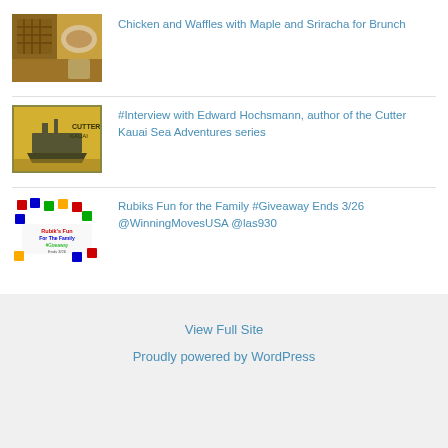Chicken and Waffles with Maple and Sriracha for Brunch
#Interview with Edward Hochsmann, author of the Cutter Kauai Sea Adventures series
Rubiks Fun for the Family #Giveaway Ends 3/26 @WinningMovesUSA @las930
View Full Site
Proudly powered by WordPress